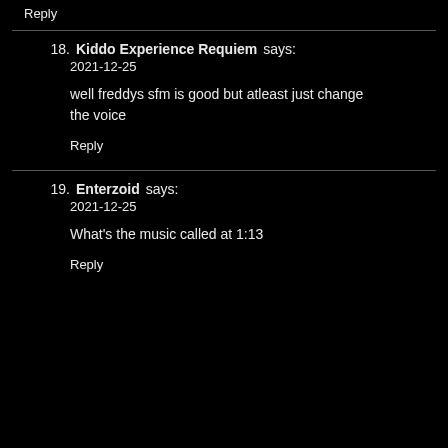Reply
18. Kiddo Experience Requiem says:
2021-12-25
well freddys sfm is good but atleast just change the voice
Reply
19. Enterzoid says:
2021-12-25
What's the music called at 1:13
Reply